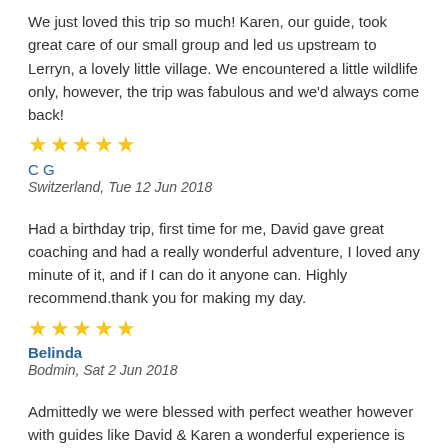We just loved this trip so much! Karen, our guide, took great care of our small group and led us upstream to Lerryn, a lovely little village. We encountered a little wildlife only, however, the trip was fabulous and we'd always come back!
★★★★★
C G
Switzerland, Tue 12 Jun 2018
Had a birthday trip, first time for me, David gave great coaching and had a really wonderful adventure, I loved any minute of it, and if I can do it anyone can. Highly recommend.thank you for making my day.
★★★★★
Belinda
Bodmin, Sat 2 Jun 2018
Admittedly we were blessed with perfect weather however with guides like David & Karen a wonderful experience is